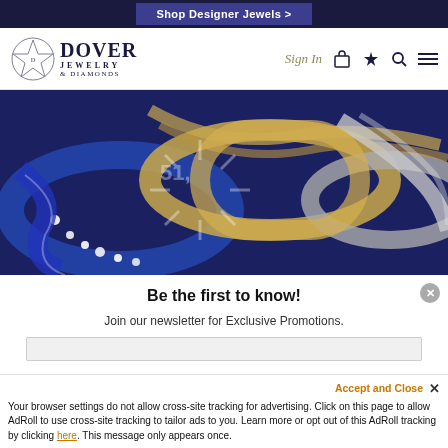Shop Designer Jewels >
[Figure (screenshot): Dover Jewelry & Diamonds website navigation bar with logo, Sign In link, and icons for bag, wishlist, search, and menu]
[Figure (photo): Close-up photo of luxury jewelry pieces including blue enamel and diamond bracelets and gold twisted bracelets with a loading spinner overlay]
Be the first to know!
Join our newsletter for Exclusive Promotions.
Accept and Close × Your browser settings do not allow cross-site tracking for advertising. Click on this page to allow AdRoll to use cross-site tracking to tailor ads to you. Learn more or opt out of this AdRoll tracking by clicking here. This message only appears once.